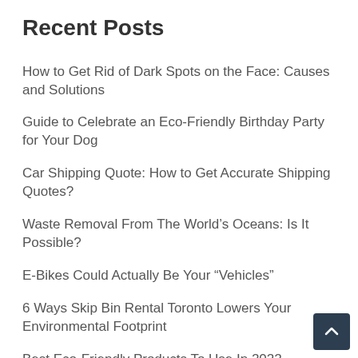Recent Posts
How to Get Rid of Dark Spots on the Face: Causes and Solutions
Guide to Celebrate an Eco-Friendly Birthday Party for Your Dog
Car Shipping Quote: How to Get Accurate Shipping Quotes?
Waste Removal From The World’s Oceans: Is It Possible?
E-Bikes Could Actually Be Your “Vehicles”
6 Ways Skip Bin Rental Toronto Lowers Your Environmental Footprint
Best Eco-Friendly Products To Use In 2022
Alternative Energy Sources for Our Homes and Businesses
Beavers to Be Protected by Law in England from Octob…
Things You’re Doing That Are Actually Bad for the…